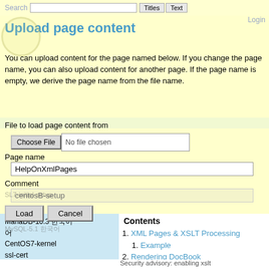Search  Titles  Text  Login
Upload page content
You can upload content for the page named below. If you change the page name, you can also upload content for another page. If the page name is empty, we derive the page name from the file name.
File to load page content from
Choose File  No file chosen
Page name
HelpOnXmlPages
Comment
Load  Cancel
MariaDB-10.3 한국어
CentOS7-kernel
ssl-cert
SSL/TLS-cipher-Tips
httpd-security
Mailman
Contents
1. XML Pages & XSLT Processing
1. Example
2. Rendering DocBook
1. Installing the DocBook support
1. Using DocBook
Security advisory: enabling xslt